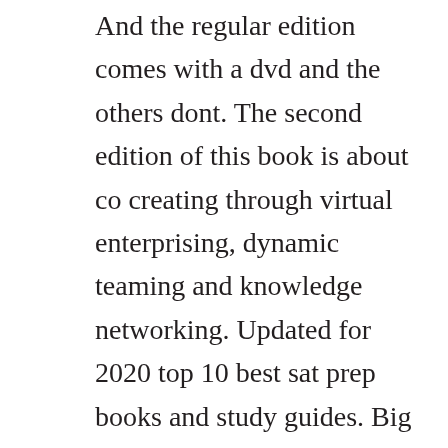And the regular edition comes with a dvd and the others dont. The second edition of this book is about co creating through virtual enterprising, dynamic teaming and knowledge networking. Updated for 2020 top 10 best sat prep books and study guides. Big book stories 2nd edition alcohol allergy rehabilitation of alcoholics dr. Abu khaithama zuhair ibn harb annasaaee died 234h checking and notes by. This new edition of the math guide has been updated, rather painstakingly, to reflect the realities of the new sat that launched in march 2016.